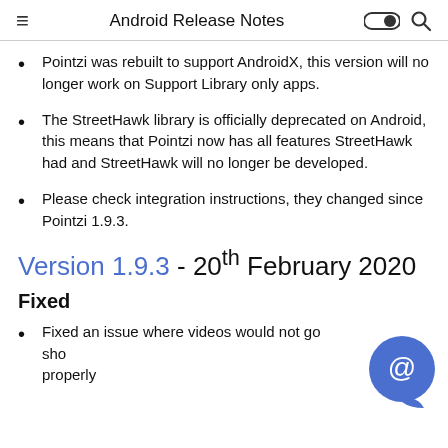Android Release Notes
Pointzi was rebuilt to support AndroidX, this version will no longer work on Support Library only apps.
The StreetHawk library is officially deprecated on Android, this means that Pointzi now has all features StreetHawk had and StreetHawk will no longer be developed.
Please check integration instructions, they changed since Pointzi 1.9.3.
Version 1.9.3 - 20th February 2020
Fixed
Fixed an issue where videos would not go show properly